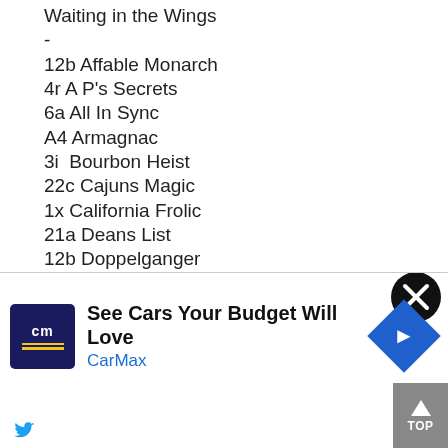Waiting in the Wings
-
12b Affable Monarch
4r A P's Secrets
6a All In Sync
A4 Armagnac
3i  Bourbon Heist
22c Cajuns Magic
1x California Frolic
21a Deans List
12b Doppelganger
4m Emmanuel rf
1L  Figlio Del Re
6e Franklin One Star
21a Freelancer rf 2s
7f God Of Love (AW)
Golden Glider (AW)
14c Higher Standard
[Figure (infographic): CarMax advertisement banner: logo with 'cm' text, yellow lines, text 'See Cars Your Budget Will Love', CarMax in blue, navigation arrow icon. Close X button top right. TOP scroll button bottom right.]